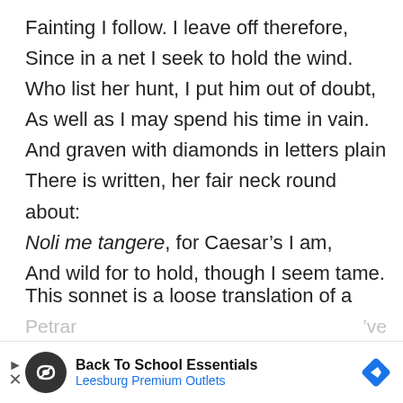Fainting I follow. I leave off therefore,
Since in a net I seek to hold the wind.
Who list her hunt, I put him out of doubt,
As well as I may spend his time in vain.
And graven with diamonds in letters plain
There is written, her fair neck round about:
Noli me tangere, for Caesar's I am,
And wild for to hold, though I seem tame.
This sonnet is a loose translation of a poem by the fourteenth-century Italian poet Petrarch, who had been the first major poet to use the form (though Petrar... ...ve discus... ...rarch
[Figure (other): Advertisement overlay: Back To School Essentials - Leesburg Premium Outlets, with a circular logo and directional diamond icon]